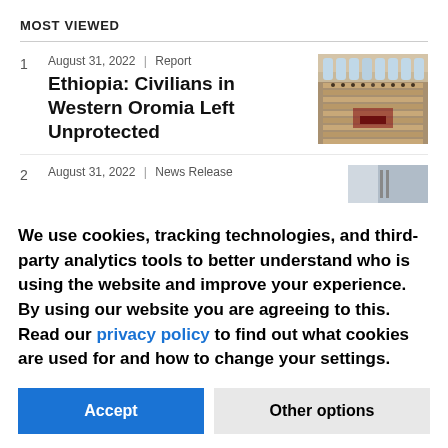MOST VIEWED
1  August 31, 2022 | Report  Ethiopia: Civilians in Western Oromia Left Unprotected
2  August 31, 2022 | News Release
We use cookies, tracking technologies, and third-party analytics tools to better understand who is using the website and improve your experience. By using our website you are agreeing to this. Read our privacy policy to find out what cookies are used for and how to change your settings.
Accept  Other options